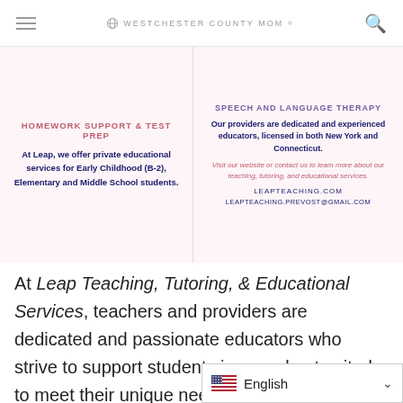WESTCHESTER COUNTY MOM
[Figure (screenshot): Advertisement banner with two columns. Left column: 'HOMEWORK SUPPORT & TEST PREP' heading, 'At Leap, we offer private educational services for Early Childhood (B-2), Elementary and Middle School students.' Right column: 'SPEECH AND LANGUAGE THERAPY' heading, 'Our providers are dedicated and experienced educators, licensed in both New York and Connecticut. Visit our website or contact us to learn more about our teaching, tutoring, and educational services. LEAPTEACHING.COM LEAPTEACHING.PREVOST@GMAIL.COM']
At Leap Teaching, Tutoring, & Educational Services, teachers and providers are dedicated and passionate educators who strive to support students in ways best suited to meet their unique needs and abilities. They provide teaching, tutoring, and speech and language services for students and children from pre-k through middle school. They also offer educational services and playgroup sessions for infants and toddlers. They